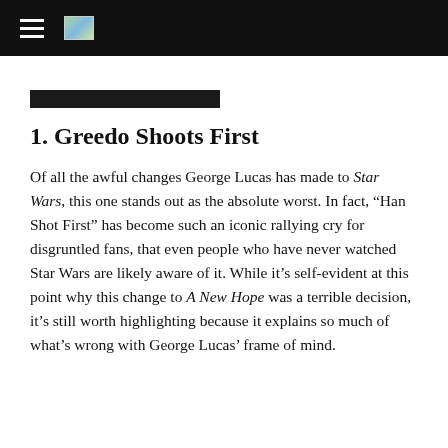[Navigation bar with hamburger menu and logo]
[Figure (other): Black top navigation bar with hamburger menu icon (three horizontal white lines) and a small landscape logo image]
1. Greedo Shoots First
Of all the awful changes George Lucas has made to Star Wars, this one stands out as the absolute worst. In fact, “Han Shot First” has become such an iconic rallying cry for disgruntled fans, that even people who have never watched Star Wars are likely aware of it. While it’s self-evident at this point why this change to A New Hope was a terrible decision, it’s still worth highlighting because it explains so much of what’s wrong with George Lucas’ frame of mind.